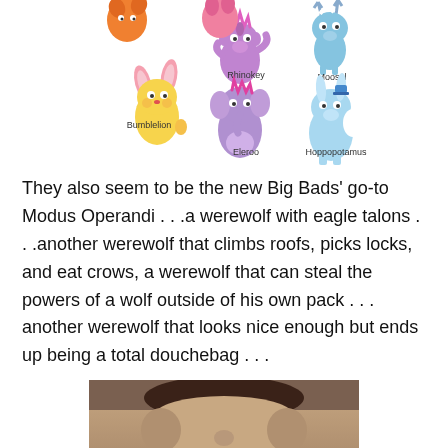[Figure (illustration): Colorful cartoon animal hybrid characters labeled: Bumblelion, Rhinokey, Moosel (top row), Butterbear, Eleroo, Hoppopotamus (bottom row)]
They also seem to be the new Big Bads' go-to Modus Operandi . . .a werewolf with eagle talons . . .another werewolf that climbs roofs, picks locks, and eat crows, a werewolf that can steal the powers of a wolf outside of his own pack . . . another werewolf that looks nice enough but ends up being a total douchebag . . .
[Figure (photo): Sepia-toned close-up photo of a young person's face from forehead to nose level, with dark hair]